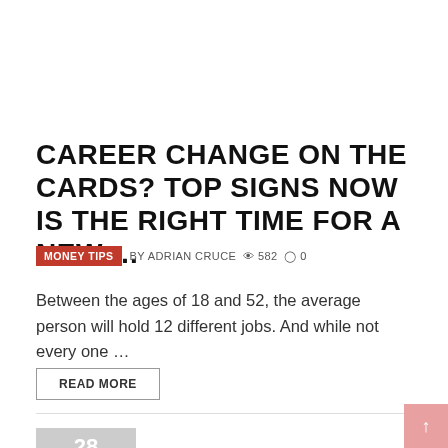CAREER CHANGE ON THE CARDS? TOP SIGNS NOW IS THE RIGHT TIME FOR A NEW ...
MONEY TIPS  BY ADRIAN CRUCE  582  0
Between the ages of 18 and 52, the average person will hold 12 different jobs. And while not every one ...
READ MORE
28 JUL